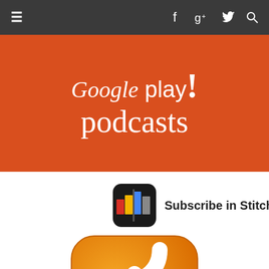Navigation bar with menu icon and social icons (Facebook, Google+, Twitter, Search)
[Figure (logo): Google play podcasts! logo on orange/red background banner]
[Figure (logo): Stitcher app icon (black rounded square with colored bars)]
Subscribe in Stitcher
[Figure (logo): RSS feed icon - large orange rounded square with white RSS signal arcs]